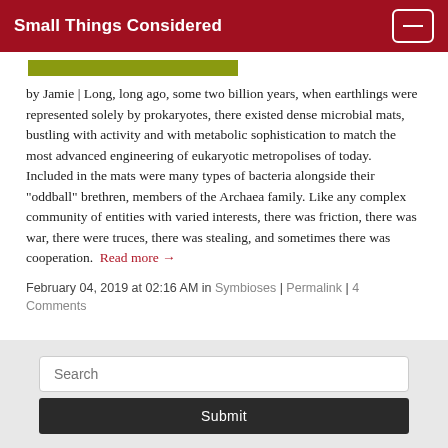Small Things Considered
[Figure (other): Partial image strip showing a yellow-green colored image bar]
by Jamie | Long, long ago, some two billion years, when earthlings were represented solely by prokaryotes, there existed dense microbial mats, bustling with activity and with metabolic sophistication to match the most advanced engineering of eukaryotic metropolises of today. Included in the mats were many types of bacteria alongside their "oddball" brethren, members of the Archaea family. Like any complex community of entities with varied interests, there was friction, there was war, there were truces, there was stealing, and sometimes there was cooperation. Read more →
February 04, 2019 at 02:16 AM in Symbioses | Permalink | 4 Comments
Search
Submit